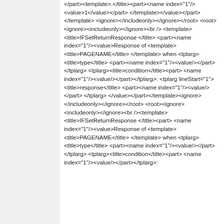</part><template>.</title><part><name index="1"/><value>1</value></part></template></value></part></template><ignore></includeonly></ignore></root> <root><ignore><includeonly></ignore><br /><template><title>IFSetReturnResponse </title><part><name index="1"/><value>Response of <template><title>PAGENAME</title></template> when <tplarg><title>type</title><part><name index="1"/><value/></part></tplarg> <tplarg><title>condition</title><part><name index="1"/><value/></part></tplarg>:<tplarg lineStart="1"><title>response</title><part><name index="1"/><value/></part></tplarg> </value></part></template><ignore></includeonly></ignore></root> <root><ignore><includeonly></ignore><br /><template><title>IFSetReturnResponse </title><part><name index="1"/><value>Response of <template><title>PAGENAME</title></template> when <tplarg><title>type</title><part><name index="1"/><value/></part></tplarg> <tplarg><title>condition</title><part><name index="1"/><value/></part></tplarg>: